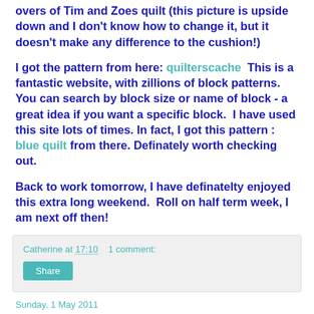overs of Tim and Zoes quilt (this picture is upside down and I don't know how to change it, but it doesn't make any difference to the cushion!)
I got the pattern from here: quilterscache  This is a fantastic website, with zillions of block patterns.  You can search by block size or name of block - a great idea if you want a specific block.  I have used this site lots of times. In fact, I got this pattern : blue quilt from there. Definately worth checking out.
Back to work tomorrow, I have definatelty enjoyed this extra long weekend.  Roll on half term week, I am next off then!
Catherine at 17:10    1 comment:
Share
Sunday, 1 May 2011
photos